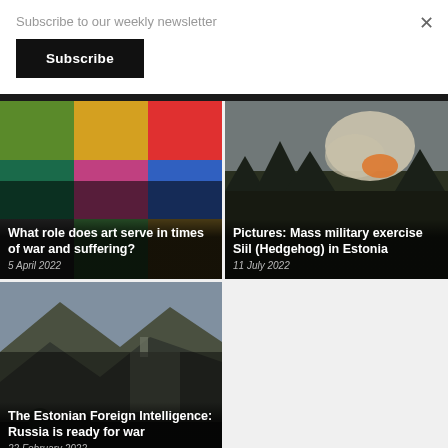Subscribe to our weekly newsletter
Subscribe
×
[Figure (photo): Colorful artwork panels collage]
What role does art serve in times of war and suffering?
5 April 2022
[Figure (photo): Military smoke/explosion in forest during exercise in Estonia]
Pictures: Mass military exercise Siil (Hedgehog) in Estonia
11 July 2022
[Figure (photo): Soldiers in mountainous terrain - Estonian Foreign Intelligence]
The Estonian Foreign Intelligence: Russia is ready for war
22 February 2022